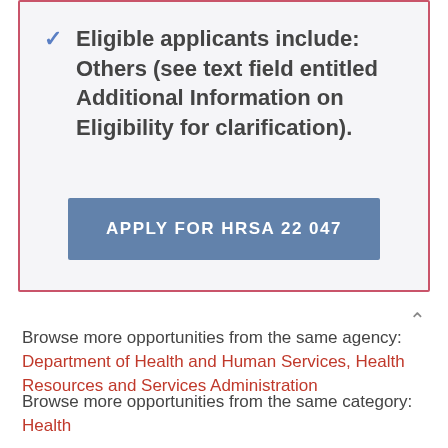Eligible applicants include: Others (see text field entitled Additional Information on Eligibility for clarification).
APPLY FOR HRSA 22 047
Browse more opportunities from the same agency:
Department of Health and Human Services, Health Resources and Services Administration
Browse more opportunities from the same category:
Health